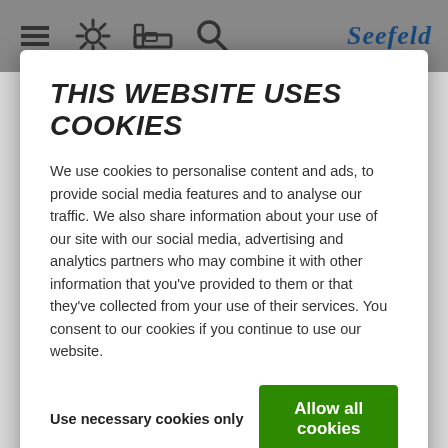[Figure (screenshot): Website navigation bar with hamburger menu, sun icon, bed icon, search icon, and Seefeld logo]
THIS WEBSITE USES COOKIES
We use cookies to personalise content and ads, to provide social media features and to analyse our traffic. We also share information about your use of our site with our social media, advertising and analytics partners who may combine it with other information that you've provided to them or that they've collected from your use of their services. You consent to our cookies if you continue to use our website.
Use necessary cookies only
Allow all cookies
Show details
Alpine ski slopes
out of 13 open